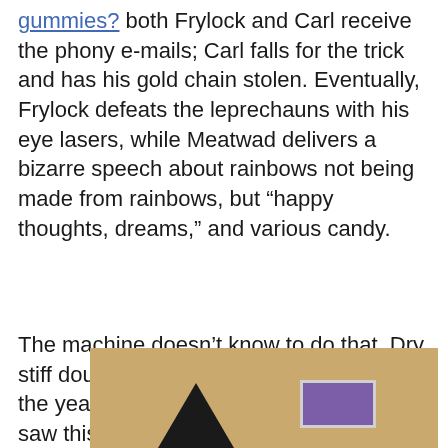gummies? both Frylock and Carl receive the phony e-mails; Carl falls for the trick and has his gold chain stolen. Eventually, Frylock defeats the leprechauns with his eye lasers, while Meatwad delivers a bizarre speech about rainbows not being made from rainbows, but “happy thoughts, dreams,” and various candy.
The machine doesn’t know to do that. Dry, stiff dough would also give the illusion that the yeast was dead. I had to laugh when I saw this post because the items were identical to some my husband got me for Christmas .
[Figure (photo): Partial image showing a tan/brown background with a black triangle shape at the bottom left and a purple/violet rectangle with light border at the bottom center-right.]